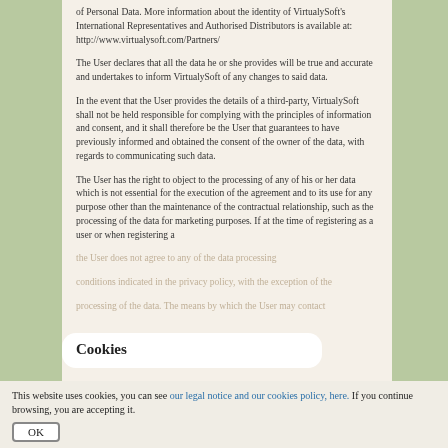of Personal Data. More information about the identity of VirtualySoft's International Representatives and Authorised Distributors is available at: http://www.virtualysoft.com/Partners/
The User declares that all the data he or she provides will be true and accurate and undertakes to inform VirtualySoft of any changes to said data.
In the event that the User provides the details of a third-party, VirtualySoft shall not be held responsible for complying with the principles of information and consent, and it shall therefore be the User that guarantees to have previously informed and obtained the consent of the owner of the data, with regards to communicating such data.
The User has the right to object to the processing of any of his or her data which is not essential for the execution of the agreement and to its use for any purpose other than the maintenance of the contractual relationship, such as the processing of the data for marketing purposes. If at the time of registering as a user or when registering a
the User does not agree to any of the data processing
conditions indicated in the privacy policy, with the exception of the
processing of the data. The means by which the User may contact
Cookies
This website uses cookies, you can see our legal notice and our cookies policy, here. If you continue browsing, you are accepting it.
OK